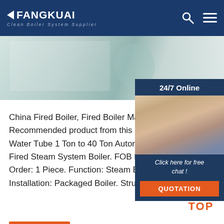FANGKUAI Clean Boiler System Supplier
[Figure (photo): Banner image showing boiler/industrial equipment in light teal tones]
[Figure (infographic): 24/7 Online chat widget with woman wearing headset, Click here for free chat!, QUOTATION button]
China Fired Boiler, Fired Boiler Manufacturers, S... Recommended product from this supplier. Chin... Water Tube 1 Ton to 40 Ton Automatic Coal Biom... Fired Steam System Boiler. FOB Price: US 5000-3... Order: 1 Piece. Function: Steam Boilers. Fuel: Co... Installation: Packaged Boiler. Structure: Water T...
[Figure (other): Get Price orange button]
[Figure (other): TOP scroll-to-top button with orange dots above text]